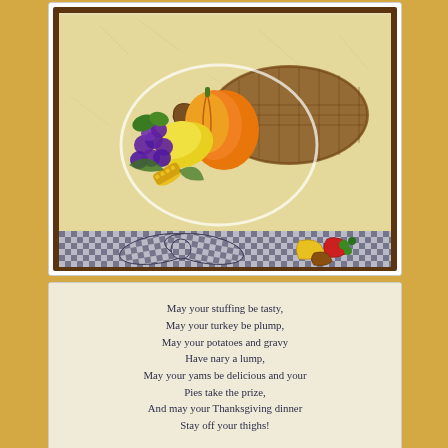[Figure (photo): A handmade Thanksgiving greeting card featuring a colorful cornucopia (horn of plenty) illustration overflowing with fruits and vegetables including grapes, a pumpkin, squash, and corn. The card has a cream/tan textured background, a brown border, and a black-and-white gingham checked ribbon bow at the bottom with fall leaf embellishments.]
[Figure (photo): Inside of a Thanksgiving card with a cream background showing a handwritten-style poem in dark navy/purple ink: 'May your stuffing be tasty, May your turkey be plump, May your potatoes and gravy Have nary a lump, May your yams be delicious and your Pies take the prize, And may your Thanksgiving dinner Stay off your thighs!']
May your stuffing be tasty, May your turkey be plump, May your potatoes and gravy Have nary a lump, May your yams be delicious and your Pies take the prize, And may your Thanksgiving dinner Stay off your thighs!